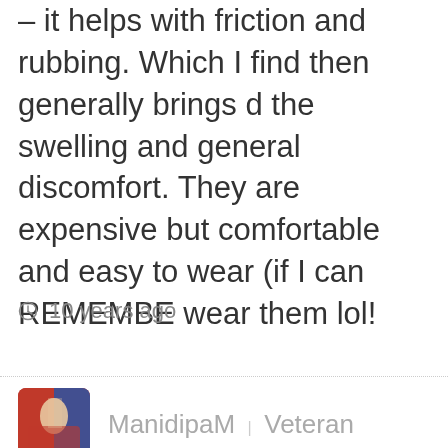– it helps with friction and rubbing. Which I find then generally brings down the swelling and general discomfort. They are expensive but comfortable and easy to wear (if I can REMEMBER to wear them lol!
10 years ago
ManidipaM | Veteran